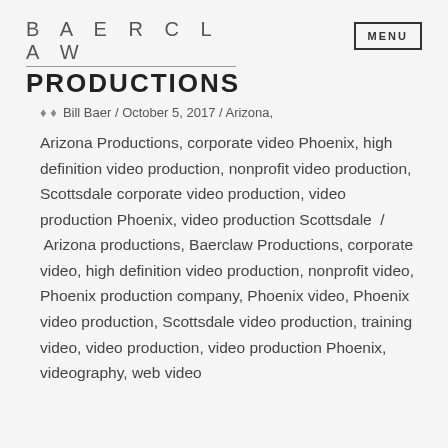BAERCLAW PRODUCTIONS
Bill Baer / October 5, 2017 / Arizona, Arizona Productions, corporate video Phoenix, high definition video production, nonprofit video production, Scottsdale corporate video production, video production Phoenix, video production Scottsdale / Arizona productions, Baerclaw Productions, corporate video, high definition video production, nonprofit video, Phoenix production company, Phoenix video, Phoenix video production, Scottsdale video production, training video, video production, video production Phoenix, videography, web video